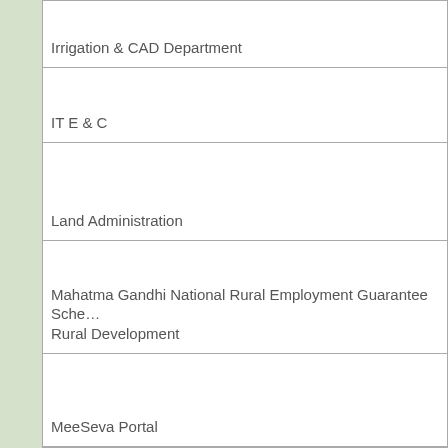| Irrigation & CAD Department |
| IT E & C |
| Land Administration |
| Mahatma Gandhi National Rural Employment Guarantee Scheme
Rural Development |
| MeeSeva Portal |
|  |